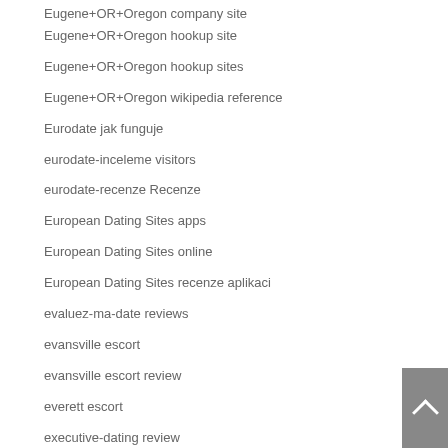Eugene+OR+Oregon company site
Eugene+OR+Oregon hookup site
Eugene+OR+Oregon hookup sites
Eugene+OR+Oregon wikipedia reference
Eurodate jak funguje
eurodate-inceleme visitors
eurodate-recenze Recenze
European Dating Sites apps
European Dating Sites online
European Dating Sites recenze aplikaci
evaluez-ma-date reviews
evansville escort
evansville escort review
everett escort
executive-dating review